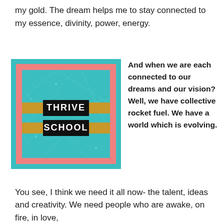my gold. The dream helps me to stay connected to my essence, divinity, power, energy.
[Figure (logo): Thrive School logo: teal background with geometric line pattern, salmon/pink border, teal outer border, two black horizontal banners reading THRIVE and SCHOOL in white bold text with golden/brown tape accents on each side]
And when we are each connected to our dreams and our vision? Well, we have collective rocket fuel. We have a world which is evolving.
You see, I think we need it all now- the talent, ideas and creativity. We need people who are awake, on fire, in love,